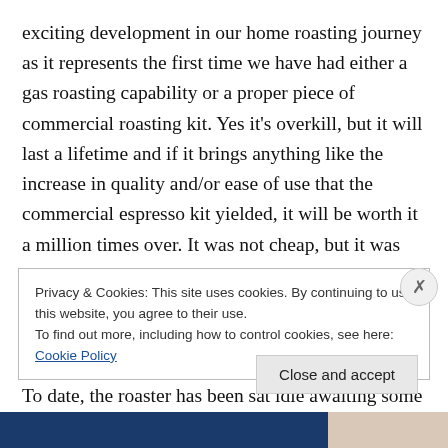exciting development in our home roasting journey as it represents the first time we have had either a gas roasting capability or a proper piece of commercial roasting kit. Yes it's overkill, but it will last a lifetime and if it brings anything like the increase in quality and/or ease of use that the commercial espresso kit yielded, it will be worth it a million times over. It was not cheap, but it was certainly not a great deal more expensive than some home roasters that can be expected to last around five years.
To date, the roaster has been sat idle awaiting some
Privacy & Cookies: This site uses cookies. By continuing to use this website, you agree to their use.
To find out more, including how to control cookies, see here: Cookie Policy
Close and accept